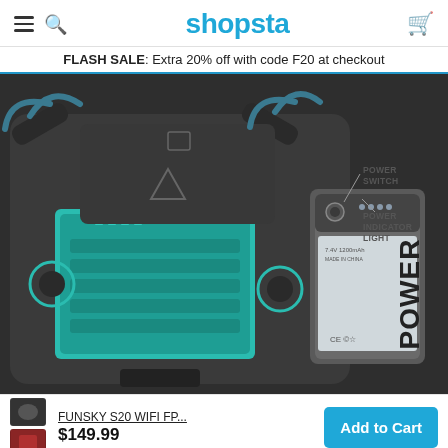shopsta
FLASH SALE: Extra 20% off with code F20 at checkout
[Figure (photo): Close-up product photo of a drone (FUNSKY S20) with an opened battery compartment showing a teal-highlighted battery bay, and a separate 7.4V Power battery shown to the right with callout labels for 'POWER SWITCH' and 'POWER INDICATOR LIGHT'.]
FUNSKY S20 WIFI FP...  $149.99  Add to Cart